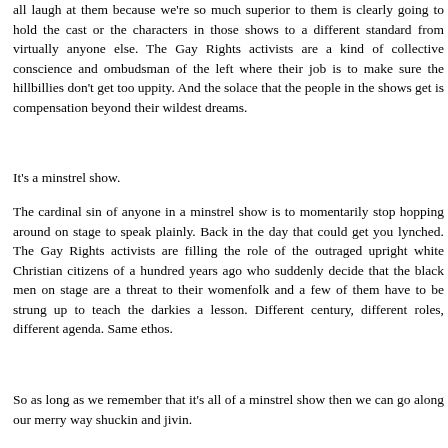all laugh at them because we're so much superior to them is clearly going to hold the cast or the characters in those shows to a different standard from virtually anyone else. The Gay Rights activists are a kind of collective conscience and ombudsman of the left where their job is to make sure the hillbillies don't get too uppity. And the solace that the people in the shows get is compensation beyond their wildest dreams.
It's a minstrel show.
The cardinal sin of anyone in a minstrel show is to momentarily stop hopping around on stage to speak plainly. Back in the day that could get you lynched. The Gay Rights activists are filling the role of the outraged upright white Christian citizens of a hundred years ago who suddenly decide that the black men on stage are a threat to their womenfolk and a few of them have to be strung up to teach the darkies a lesson. Different century, different roles, different agenda. Same ethos.
So as long as we remember that it's all of a minstrel show then we can go along our merry way shuckin and jivin.